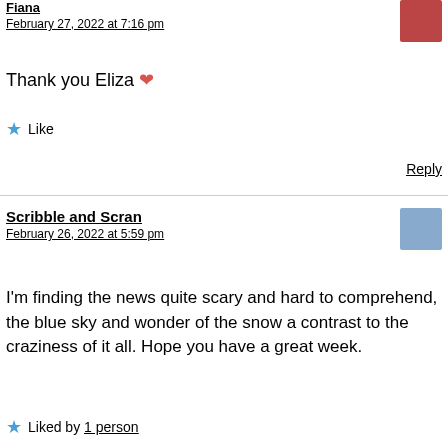Fiana
February 27, 2022 at 7:16 pm
Thank you Eliza ❤
Like
Reply
Scribble and Scran
February 26, 2022 at 5:59 pm
I'm finding the news quite scary and hard to comprehend, the blue sky and wonder of the snow a contrast to the craziness of it all. Hope you have a great week.
Liked by 1 person